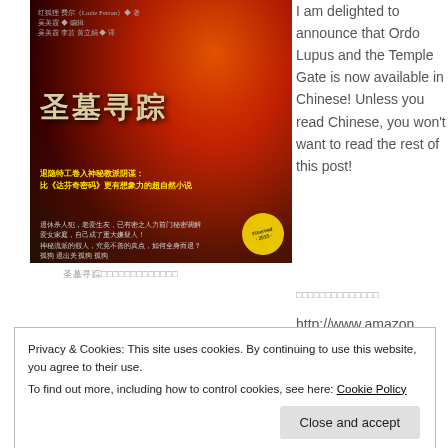[Figure (photo): Chinese book cover for '圣墓寻踪' (Ordo Lupus and the Temple Gate) with dramatic dark fantasy artwork showing a woman and fire, with Chinese text and a Fiberead 2015 badge]
圣墓寻踪（Chinese characters）
I am delighted to announce that Ordo Lupus and the Temple Gate is now available in Chinese! Unless you read Chinese, you won't want to read the rest of this post!
圣墓寻踪（Chinese characters）
http://www.amazon.
Privacy & Cookies: This site uses cookies. By continuing to use this website, you agree to their use.
To find out more, including how to control cookies, see here: Cookie Policy
Close and accept